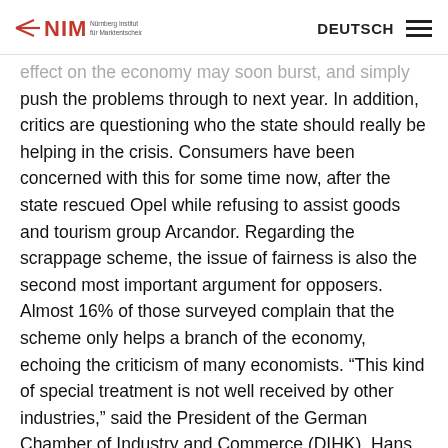NIM | DEUTSCH
effect on the economy may soon burst, and simply push the problems through to next year. In addition, critics are questioning who the state should really be helping in the crisis. Consumers have been concerned with this for some time now, after the state rescued Opel while refusing to assist goods and tourism group Arcandor. Regarding the scrappage scheme, the issue of fairness is also the second most important argument for opposers. Almost 16% of those surveyed complain that the scheme only helps a branch of the economy, echoing the criticism of many economists. “This kind of special treatment is not well received by other industries,” said the President of the German Chamber of Industry and Commerce (DIHK), Hans Heinrich Driftmann, in various press reports. A further 15% of critics also found the government’s handling of